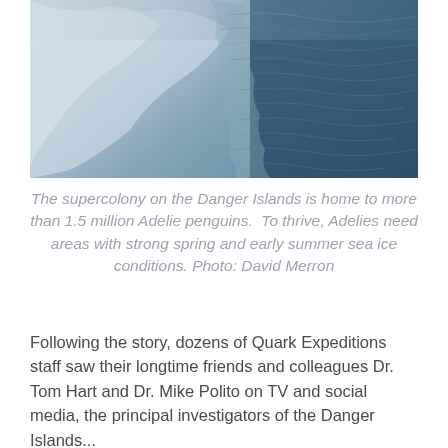[Figure (photo): Close-up photo of an iceberg or glacial ice formation with ocean water. The left side shows white/grey textured ice and the right side shows dark blue rippling sea water. Blue-grey cool color tone throughout.]
The supercolony on the Danger Islands is home to more than 1.5 million Adelie penguins.  To thrive, Adelies need areas with strong spring and early summer sea ice conditions. Photo: David Merron
Following the story, dozens of Quark Expeditions staff saw their longtime friends and colleagues Dr. Tom Hart and Dr. Mike Polito on TV and social media, the principal investigators of the Danger Islands...